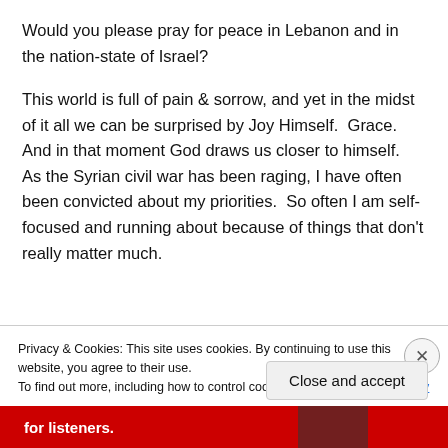Would you please pray for peace in Lebanon and in the nation-state of Israel?
This world is full of pain & sorrow, and yet in the midst of it all we can be surprised by Joy Himself.  Grace.  And in that moment God draws us closer to himself.  As the Syrian civil war has been raging, I have often been convicted about my priorities.  So often I am self-focused and running about because of things that don't really matter much.
[partial line cut off by cookie banner]
Privacy & Cookies: This site uses cookies. By continuing to use this website, you agree to their use.
To find out more, including how to control cookies, see here: Cookie Policy
Close and accept
for listeners.